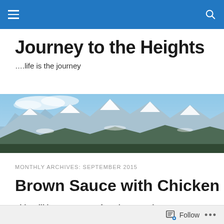Navigation bar with hamburger menu and search icon
Journey to the Heights
….life is the journey
[Figure (photo): Panoramic banner photo of snow-capped mountain range under blue sky]
MONTHLY ARCHIVES: SEPTEMBER 2015
Brown Sauce with Chicken
This will become a new favorite at our house!
Follow  •••